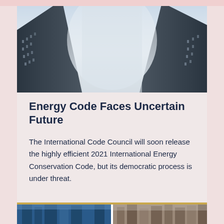[Figure (photo): Looking up at tall skyscrapers from below, foggy sky between buildings]
Energy Code Faces Uncertain Future
The International Code Council will soon release the highly efficient 2021 International Energy Conservation Code, but its democratic process is under threat.
[Figure (photo): Two side-by-side photos of urban buildings and streets from below]